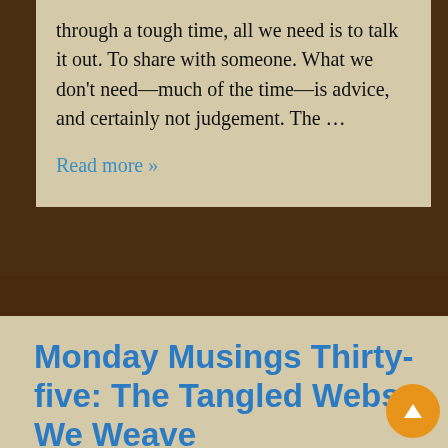through a tough time, all we need is to talk it out. To share with someone. What we don't need—much of the time—is advice, and certainly not judgement. The ...
Read more »
Monday Musings Thirty-five: The Tangled Webs We Weave
BY HARMONY KENT - POSTED ON 23RD JANUARY 2017 - POSTED IN MONDAY MUSINGS, WORK IN PROGRESS - TAGGED WITH ,